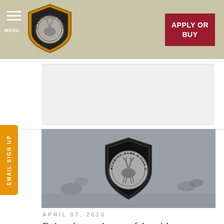MENU | APPLY OR BUY
[Figure (logo): Wyoming Game & Fish Department badge/shield logo with deer in center circle]
[Figure (photo): Wyoming Game & Fish Department banner image showing grayscale wildlife scene with the department badge/shield overlaid in center]
APRIL 07, 2020
Enjoy the outdoors safely with social distancing